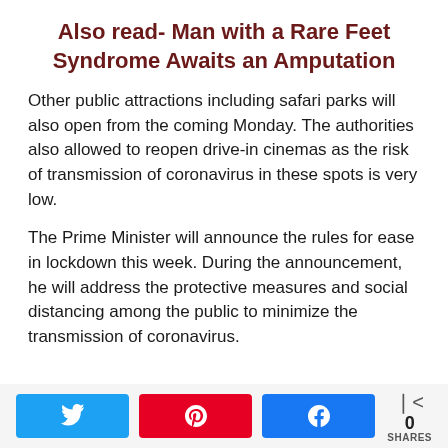Also read- Man with a Rare Feet Syndrome Awaits an Amputation
Other public attractions including safari parks will also open from the coming Monday. The authorities also allowed to reopen drive-in cinemas as the risk of transmission of coronavirus in these spots is very low.
The Prime Minister will announce the rules for ease in lockdown this week. During the announcement, he will address the protective measures and social distancing among the public to minimize the transmission of coronavirus.